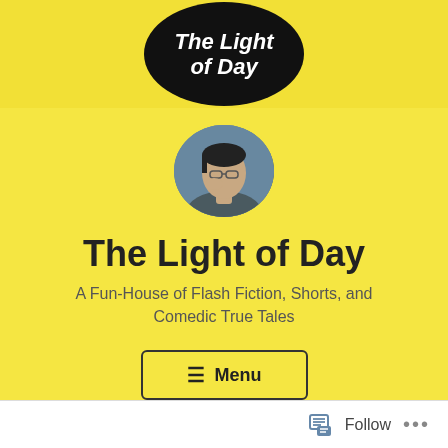[Figure (logo): Black oval/circle logo with white bold italic text reading 'The Light of Day' on a yellow banner background]
[Figure (photo): Circular profile photo of a young person wearing glasses, hand near face, thoughtful pose]
The Light of Day
A Fun-House of Flash Fiction, Shorts, and Comedic True Tales
≡ Menu
Follow ...